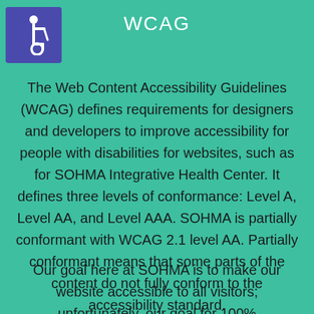WCAG
[Figure (illustration): Accessibility icon (wheelchair symbol) on a blue/indigo square background]
The Web Content Accessibility Guidelines (WCAG) defines requirements for designers and developers to improve accessibility for people with disabilities for websites, such as for SOHMA Integrative Health Center. It defines three levels of conformance: Level A, Level AA, and Level AAA. SOHMA is partially conformant with WCAG 2.1 level AA. Partially conformant means that some parts of the content do not fully conform to the accessibility standard.
Our goal here at SOHMA is to make our website accessible to all visitors; unfortunately, our goal for 100%